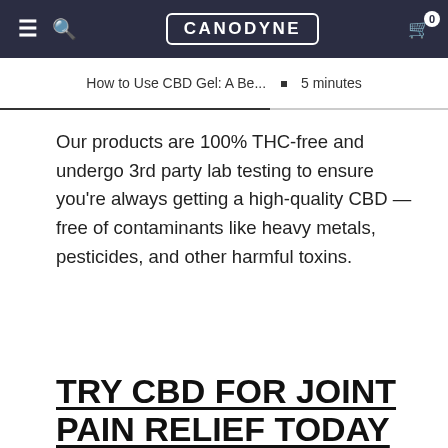CANODYNE
How to Use CBD Gel: A Be... • 5 minutes
Our products are 100% THC-free and undergo 3rd party lab testing to ensure you’re always getting a high-quality CBD — free of contaminants like heavy metals, pesticides, and other harmful toxins.
TRY CBD FOR JOINT PAIN RELIEF TODAY